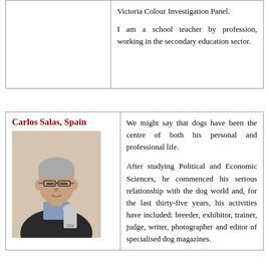|  | Victoria Colour Investigation Panel.

I am a school teacher by profession, working in the secondary education sector. |
| Carlos Salas, Spain
[photo] | We might say that dogs have been the centre of both his personal and professional life.

After studying Political and Economic Sciences, he commenced his serious relationship with the dog world and, for the last thirty-five years, his activities have included: breeder, exhibitor, trainer, judge, writer, photographer and editor of specialised dog magazines. |